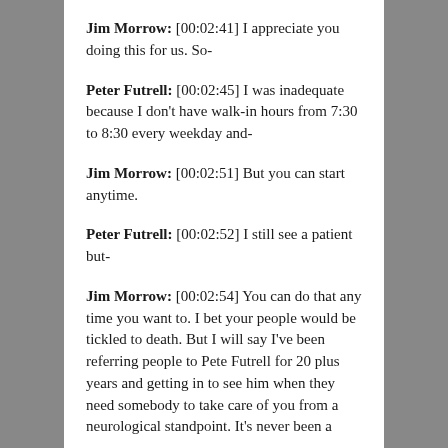Jim Morrow: [00:02:41] I appreciate you doing this for us. So-
Peter Futrell: [00:02:45] I was inadequate because I don't have walk-in hours from 7:30 to 8:30 every weekday and-
Jim Morrow: [00:02:51] But you can start anytime.
Peter Futrell: [00:02:52] I still see a patient but-
Jim Morrow: [00:02:54] You can do that any time you want to. I bet your people would be tickled to death. But I will say I've been referring people to Pete Futrell for 20 plus years and getting in to see him when they need somebody to take care of you from a neurological standpoint. It's never been a